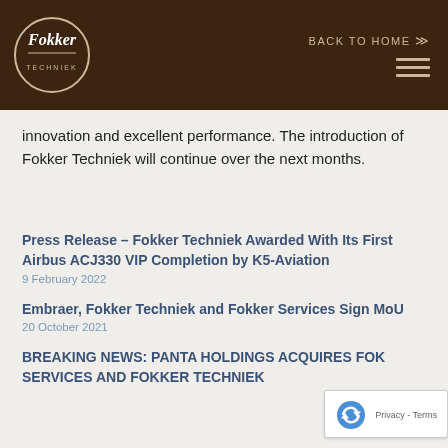Fokker Techniek — BACK TO HOME
innovation and excellent performance. The introduction of Fokker Techniek will continue over the next months.
Press Release – Fokker Techniek Awarded With Its First Airbus ACJ330 VIP Completion by K5-Aviation
9 February 2022
Embraer, Fokker Techniek and Fokker Services Sign MoU
20 October 2021
BREAKING NEWS: PANTA HOLDINGS ACQUIRES FOK... SERVICES AND FOKKER TECHNIEK